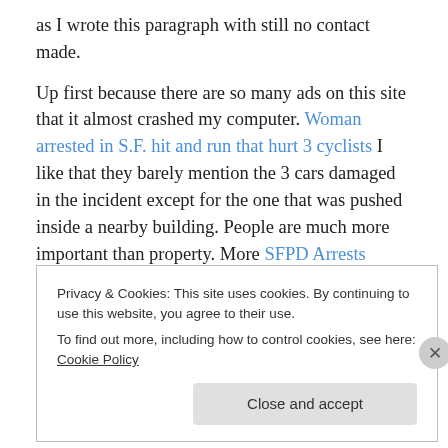as I wrote this paragraph with still no contact made.
Up first because there are so many ads on this site that it almost crashed my computer. Woman arrested in S.F. hit and run that hurt 3 cyclists I like that they barely mention the 3 cars damaged in the incident except for the one that was pushed inside a nearby building. People are much more important than property. More SFPD Arrests Driver Who Hit Three Bike Commuters on the Wiggle
Privacy & Cookies: This site uses cookies. By continuing to use this website, you agree to their use. To find out more, including how to control cookies, see here: Cookie Policy